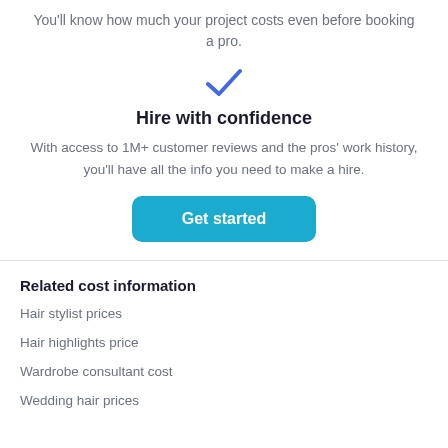You'll know how much your project costs even before booking a pro.
[Figure (illustration): Blue checkmark icon]
Hire with confidence
With access to 1M+ customer reviews and the pros' work history, you'll have all the info you need to make a hire.
[Figure (other): Get started button — teal/blue rounded rectangle with white bold text]
Related cost information
Hair stylist prices
Hair highlights price
Wardrobe consultant cost
Wedding hair prices